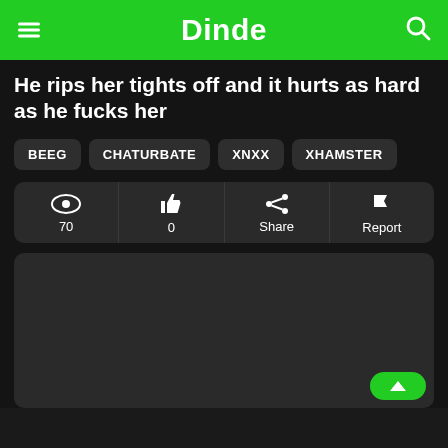Dinde
He rips her tights off and it hurts as hard as he fucks her
BEEG
CHATURBATE
XNXX
XHAMSTER
[Figure (screenshot): Action bar with eye icon (70 views), thumbs-up icon (0 likes), share icon, and report flag icon]
[Figure (screenshot): Dark gray video placeholder area]